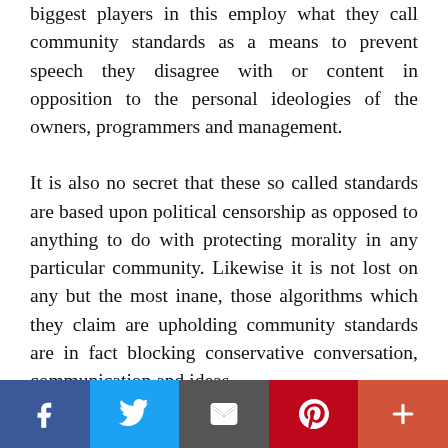biggest players in this employ what they call community standards as a means to prevent speech they disagree with or content in opposition to the personal ideologies of the owners, programmers and management.
It is also no secret that these so called standards are based upon political censorship as opposed to anything to do with protecting morality in any particular community. Likewise it is not lost on any but the most inane, those algorithms which they claim are upholding community standards are in fact blocking conservative conversation, communication and ideas.
[Figure (infographic): Social media share bar with five buttons: Facebook (blue), Twitter (light blue), Email (dark grey), Pinterest (red), and More/Plus (orange-red).]